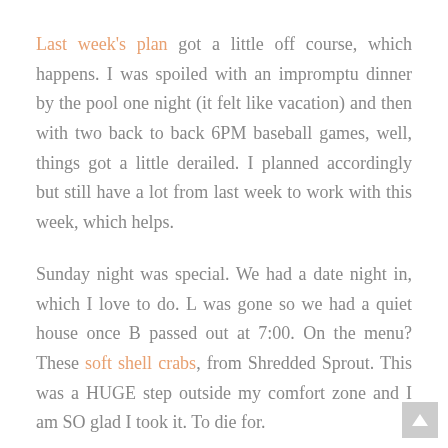Last week's plan got a little off course, which happens. I was spoiled with an impromptu dinner by the pool one night (it felt like vacation) and then with two back to back 6PM baseball games, well, things got a little derailed. I planned accordingly but still have a lot from last week to work with this week, which helps.
Sunday night was special. We had a date night in, which I love to do. L was gone so we had a quiet house once B passed out at 7:00. On the menu? These soft shell crabs, from Shredded Sprout. This was a HUGE step outside my comfort zone and I am SO glad I took it. To die for.